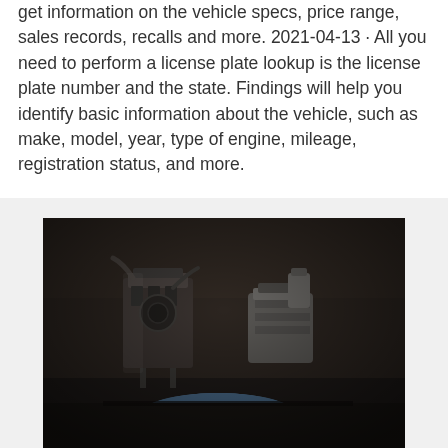get information on the vehicle specs, price range, sales records, recalls and more. 2021-04-13 · All you need to perform a license plate lookup is the license plate number and the state. Findings will help you identify basic information about the vehicle, such as make, model, year, type of engine, mileage, registration status, and more.
[Figure (photo): Dark photograph of vintage or industrial engine machinery/components in a dimly lit garage or workshop setting, showing mechanical parts including what appears to be an old engine, pipes, and a blue seat or cushion in the foreground.]